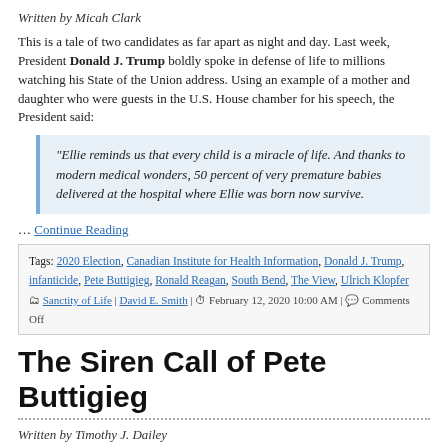Written by Micah Clark
This is a tale of two candidates as far apart as night and day. Last week, President Donald J. Trump boldly spoke in defense of life to millions watching his State of the Union address. Using an example of a mother and daughter who were guests in the U.S. House chamber for his speech, the President said:
“Ellie reminds us that every child is a miracle of life. And thanks to modern medical wonders, 50 percent of very premature babies delivered at the hospital where Ellie was born now survive.
… Continue Reading
Tags: 2020 Election, Canadian Institute for Health Information, Donald J. Trump, infanticide, Pete Buttigieg, Ronald Reagan, South Bend, The View, Ulrich Klopfer | Sanctity of Life | David E. Smith | February 12, 2020 10:00 AM | Comments Off
The Siren Call of Pete Buttigieg
Written by Timothy J. Dailey
When Pete Buttigieg, the little-known mayor of South Bend, Indiana,